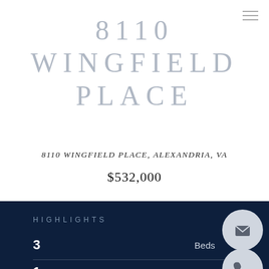8110 WINGFIELD PLACE
8110 WINGFIELD PLACE, ALEXANDRIA, VA
$532,000
HIGHLIGHTS
3 Beds
1 Full Bath
0.19 ACRES Lot